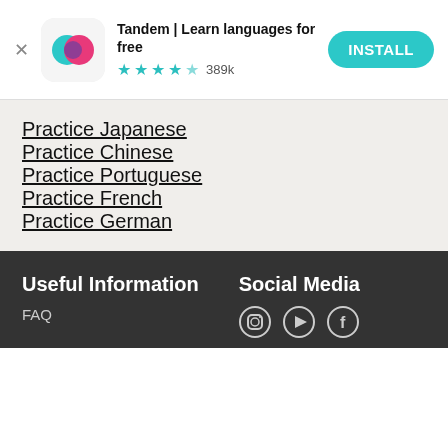[Figure (screenshot): App advertisement banner for Tandem: Learn languages for free. Shows app icon (teal and pink speech bubbles), app title, 4.5 star rating with 389k reviews, and INSTALL button.]
Practice Japanese
Practice Chinese
Practice Portuguese
Practice French
Practice German
Useful Information
Social Media
FAQ